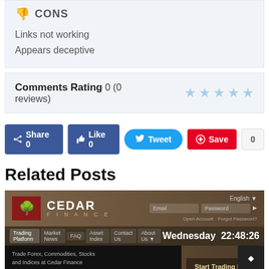CONS
Links not working
Appears deceptive
Comments Rating 0 (0 reviews)
Share 0  Like 0  Tweet  Save  0
Related Posts
[Figure (screenshot): Screenshot of Cedar Finance website showing the trading platform homepage with logo, navigation bar, email/password fields, and 'Start Trading Now' CTA. Timestamp shows Wednesday 22:48:26.]